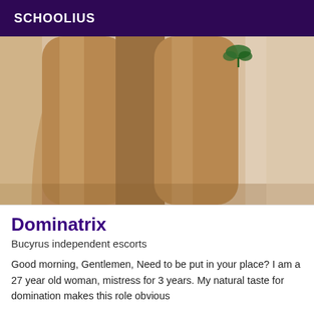SCHOOLIUS
[Figure (photo): Close-up photo of a person's legs with a small tattoo visible near the top]
Dominatrix
Bucyrus independent escorts
Good morning, Gentlemen, Need to be put in your place? I am a 27 year old woman, mistress for 3 years. My natural taste for domination makes this role obvious